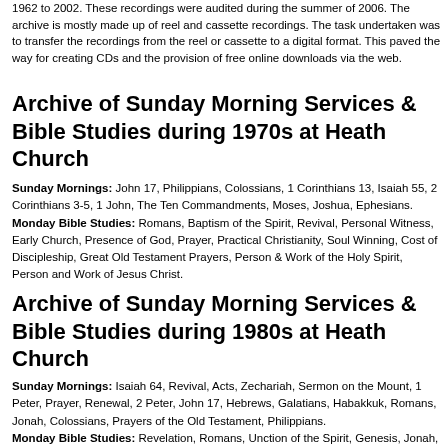1962 to 2002. These recordings were audited during the summer of 2006. The archive is mostly made up of reel and cassette recordings. The task undertaken was to transfer the recordings from the reel or cassette to a digital format. This paved the way for creating CDs and the provision of free online downloads via the web.
Archive of Sunday Morning Services & Bible Studies during 1970s at Heath Church
Sunday Mornings: John 17, Philippians, Colossians, 1 Corinthians 13, Isaiah 55, 2 Corinthians 3-5, 1 John, The Ten Commandments, Moses, Joshua, Ephesians. Monday Bible Studies: Romans, Baptism of the Spirit, Revival, Personal Witness, Early Church, Presence of God, Prayer, Practical Christianity, Soul Winning, Cost of Discipleship, Great Old Testament Prayers, Person & Work of the Holy Spirit, Person and Work of Jesus Christ.
Archive of Sunday Morning Services & Bible Studies during 1980s at Heath Church
Sunday Mornings: Isaiah 64, Revival, Acts, Zechariah, Sermon on the Mount, 1 Peter, Prayer, Renewal, 2 Peter, John 17, Hebrews, Galatians, Habakkuk, Romans, Jonah, Colossians, Prayers of the Old Testament, Philippians. Monday Bible Studies: Revelation, Romans, Unction of the Spirit, Genesis, Jonah, James, Song of Solomon, Work of the Spirit, 1 John, Life of David, Prayer of Ephesians 1, Spiritual Warfare